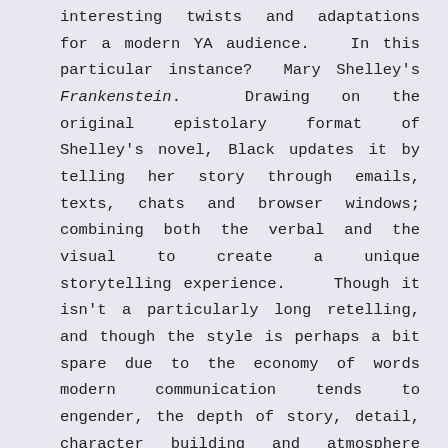interesting twists and adaptations for a modern YA audience. In this particular instance? Mary Shelley's Frankenstein. Drawing on the original epistolary format of Shelley's novel, Black updates it by telling her story through emails, texts, chats and browser windows; combining both the verbal and the visual to create a unique storytelling experience. Though it isn't a particularly long retelling, and though the style is perhaps a bit spare due to the economy of words modern communication tends to engender, the depth of story, detail, character building and atmosphere Black conveys in iFrankenstein impressed me.

Black's version of the gothic tragedy features